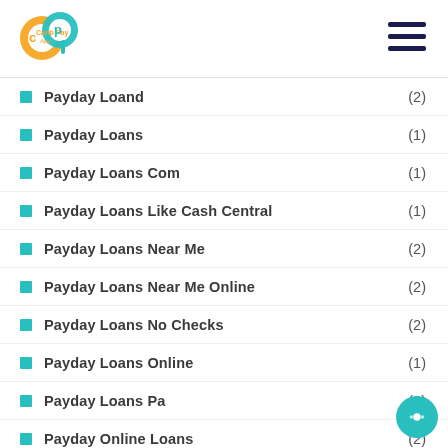Carib Pay App — navigation header
Payday Loand (2)
Payday Loans (1)
Payday Loans Com (1)
Payday Loans Like Cash Central (1)
Payday Loans Near Me (2)
Payday Loans Near Me Online (2)
Payday Loans No Checks (2)
Payday Loans Online (1)
Payday Loans Pa (2)
Payday Online Loans (2)
Paydayloan (3)